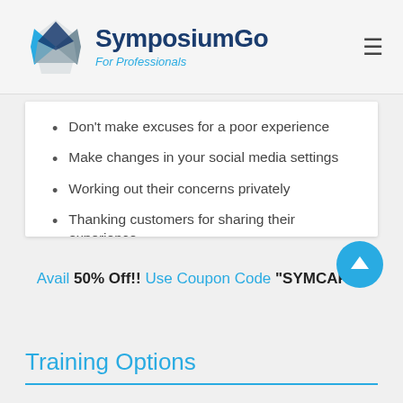SymposiumGo For Professionals
Don't make excuses for a poor experience
Make changes in your social media settings
Working out their concerns privately
Thanking customers for sharing their experience
Sharing these reviews with your staff to positively impact their customer experience
Who Should Attend?
Physicians, Medical Practice Employees, Hospital, Compliance Officers, Manager, Supervisor, Medical Societies, Healthcare training organizations
Avail 50% Off!! Use Coupon Code "SYMCARE"
Training Options